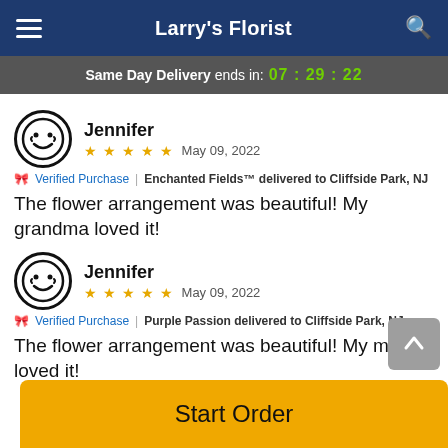Larry's Florist
Same Day Delivery ends in: 07 : 29 : 22
Jennifer ★★★★★ May 09, 2022
Verified Purchase | Enchanted Fields™ delivered to Cliffside Park, NJ
The flower arrangement was beautiful! My grandma loved it!
Jennifer ★★★★★ May 09, 2022
Verified Purchase | Purple Passion delivered to Cliffside Park, NJ
The flower arrangement was beautiful! My mother loved it!
Start Order